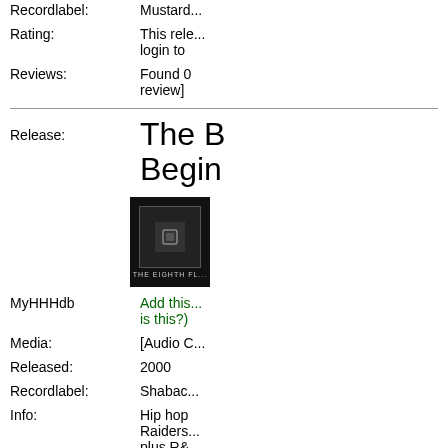Recordlabel: Mustard...
Rating: This rele... login to...
Reviews: Found 0... review]
Release: The B... Begin...
[Figure (photo): Album cover thumbnail showing dark background with 'THE EIGHTH FL...' text]
MyHHHdb: Add this... is this?)
Media: [Audio C...
Released: 2000
Recordlabel: Shabac...
Info: Hip hop Raiders... plus R&... label.
1. Intro
2. Neve...
3. 25